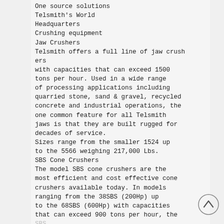One source solutions
Telsmith's World Headquarters
Crushing equipment
Jaw Crushers
Telsmith offers a full line of jaw crushers with capacities that can exceed 1500 tons per hour. Used in a wide range of processing applications including quarried stone, sand & gravel, recycled concrete and industrial operations, the one common feature for all Telsmith jaws is that they are built rugged for decades of service.
Sizes range from the smaller 1524 up to the 5566 weighing 217,000 Lbs.
SBS Cone Crushers
The model SBS cone crushers are the most efficient and cost effective cone crushers available today. In models ranging from the 38SBS (200Hp) up to the 68SBS (600Hp) with capacities that can exceed 900 tons per hour, the SBS...